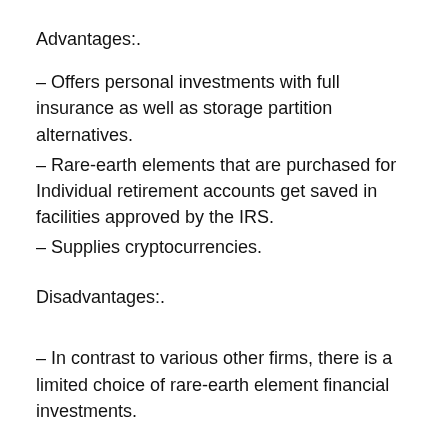Advantages:.
– Offers personal investments with full insurance as well as storage partition alternatives.
– Rare-earth elements that are purchased for Individual retirement accounts get saved in facilities approved by the IRS.
– Supplies cryptocurrencies.
Disadvantages:.
– In contrast to various other firms, there is a limited choice of rare-earth element financial investments.
It deserves having a look at Regal Assets, if